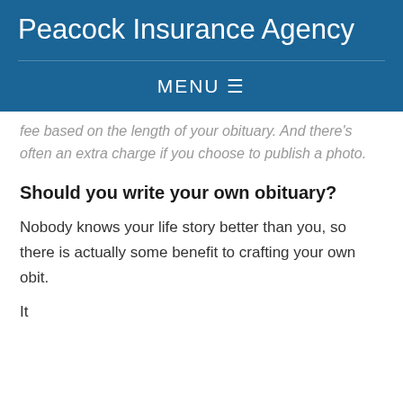Peacock Insurance Agency
MENU ☰
fee based on the length of your obituary. And there's often an extra charge if you choose to publish a photo.
Should you write your own obituary?
Nobody knows your life story better than you, so there is actually some benefit to crafting your own obit.
It...